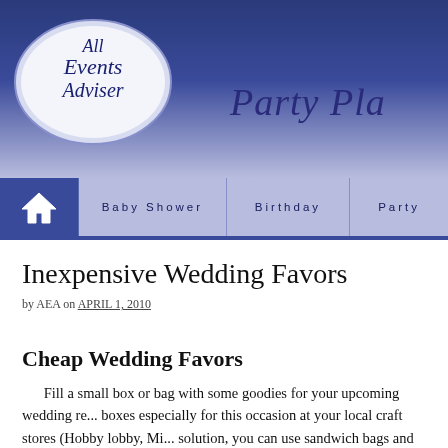[Figure (logo): All Events Adviser logo — oval shape with script text, plus 'Party Plan...' text on right]
Baby Shower | Birthday | Party
Inexpensive Wedding Favors
by AEA on APRIL 1, 2010
Cheap Wedding Favors
Fill a small box or bag with some goodies for your upcoming wedding re... boxes especially for this occasion at your local craft stores (Hobby lobby, Mi... solution, you can use sandwich bags and some ribbon.
Now you need to figure out what you would like to stuff in them, here ar...